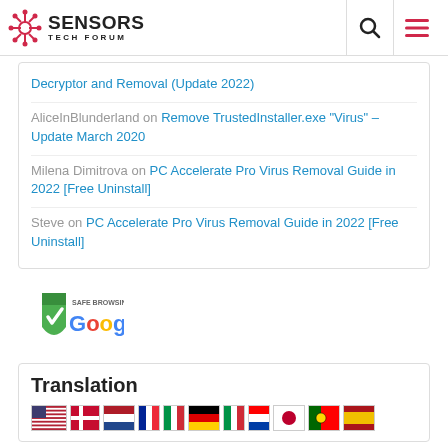Sensors Tech Forum
Decryptor and Removal (Update 2022)
AliceInBlunderland on Remove TrustedInstaller.exe "Virus" – Update March 2020
Milena Dimitrova on PC Accelerate Pro Virus Removal Guide in 2022 [Free Uninstall]
Steve on PC Accelerate Pro Virus Removal Guide in 2022 [Free Uninstall]
[Figure (logo): Google Safe Browsing badge with green shield and checkmark]
Translation
[Figure (infographic): Row of country flag icons: USA, Denmark, Netherlands, France, Italy, Germany, Italy, Croatia, Japan, Portugal, Spain]